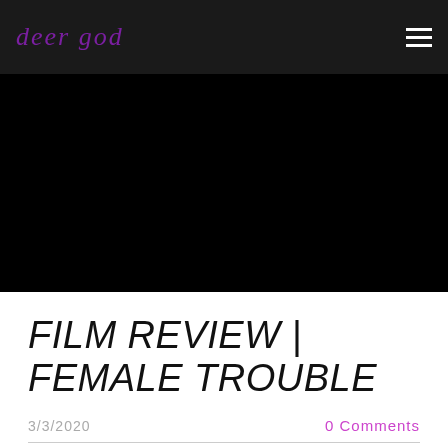deer god
[Figure (photo): Black hero image banner]
FILM REVIEW | FEMALE TROUBLE
3/3/2020
0 Comments